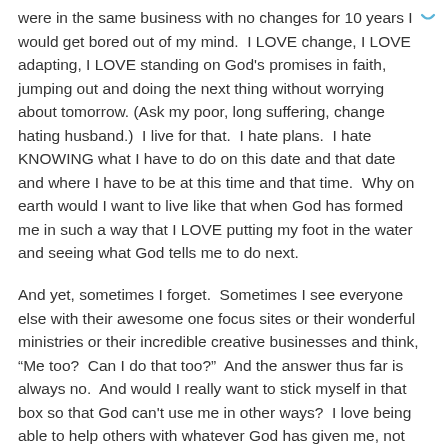were in the same business with no changes for 10 years I would get bored out of my mind.  I LOVE change, I LOVE adapting, I LOVE standing on God's promises in faith, jumping out and doing the next thing without worrying about tomorrow. (Ask my poor, long suffering, change hating husband.)  I live for that.  I hate plans.  I hate KNOWING what I have to do on this date and that date and where I have to be at this time and that time.  Why on earth would I want to live like that when God has formed me in such a way that I LOVE putting my foot in the water and seeing what God tells me to do next.
And yet, sometimes I forget.  Sometimes I see everyone else with their awesome one focus sites or their wonderful ministries or their incredible creative businesses and think, “Me too?  Can I do that too?”  And the answer thus far is always no.  And would I really want to stick myself in that box so that God can't use me in other ways?  I love being able to help others with whatever God has given me, not just the talents I deem